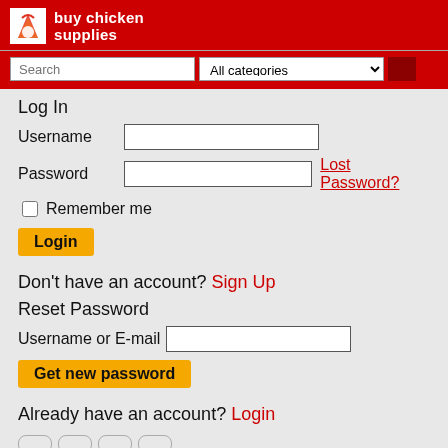[Figure (logo): Buy Chicken Supplies logo — red background with white chicken logo icon and white bold text 'buy chicken supplies']
Search | All categories
Log In
Username [input field]
Password [input field]  Lost Password?
Remember me
Login
Don't have an account? Sign Up
Reset Password
Username or E-mail [input field]
Get new password
Already have an account? Login
[Figure (other): Row of four pill-shaped placeholder icon buttons]
[Figure (other): Row of two pill-shaped placeholder icon buttons]
Shopping cart